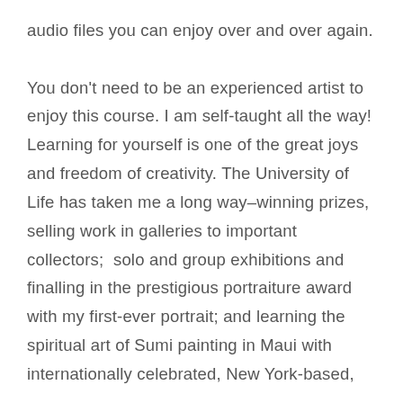audio files you can enjoy over and over again.

You don't need to be an experienced artist to enjoy this course. I am self-taught all the way! Learning for yourself is one of the great joys and freedom of creativity. The University of Life has taken me a long way–winning prizes, selling work in galleries to important collectors;  solo and group exhibitions and finalling in the prestigious portraiture award with my first-ever portrait; and learning the spiritual art of Sumi painting in Maui with internationally celebrated, New York-based,